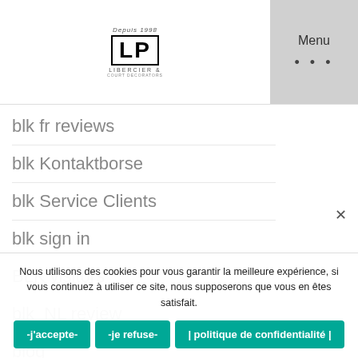[Figure (logo): LP Libercier logo with 'Depuis 1998' above and brand name below in a bordered box]
Menu
blk fr reviews
blk Kontaktborse
blk Service Clients
blk sign in
BLK visitors
blk_NL review
blog
blue payday loans
Blued horar cuenta
blueed es reviews
Nous utilisons des cookies pour vous garantir la meilleure expérience, si vous continuez à utiliser ce site, nous supposerons que vous en êtes satisfait.
-j'accepte-   -je refuse-   | politique de confidentialité |